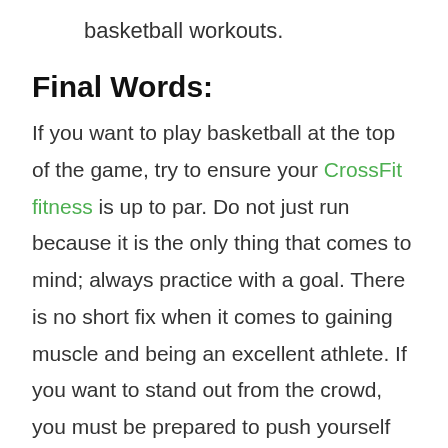basketball workouts.
Final Words:
If you want to play basketball at the top of the game, try to ensure your CrossFit fitness is up to par. Do not just run because it is the only thing that comes to mind; always practice with a goal. There is no short fix when it comes to gaining muscle and being an excellent athlete. If you want to stand out from the crowd, you must be prepared to push yourself beyond your comfort zone to grow as a person.